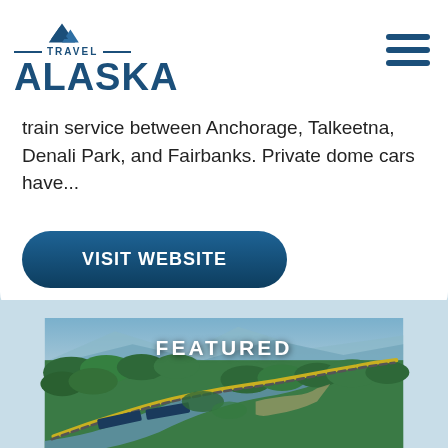[Figure (logo): Travel Alaska logo with mountain icon, horizontal lines, and bold ALASKA text in dark blue]
train service between Anchorage, Talkeetna, Denali Park, and Fairbanks. Private dome cars have...
VISIT WEBSITE
[Figure (photo): Aerial photograph of a train winding through dense green forest alongside a river in Alaska, labeled FEATURED]